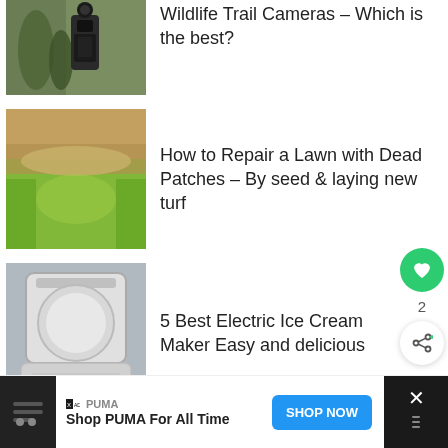[Figure (photo): Trail camera mounted on a pole near grass and plants]
Wildlife Trail Cameras – Which is the best?
[Figure (photo): Lawn with dead patches and surrounding green grass]
How to Repair a Lawn with Dead Patches – By seed & laying new turf
[Figure (photo): White electric ice cream maker appliance]
5 Best Electric Ice Cream Maker Easy and delicious
[Figure (photo): Person in garden wearing yellow shirt]
How to choose & plant
PUMA
Shop PUMA For All Time
SHOP NOW